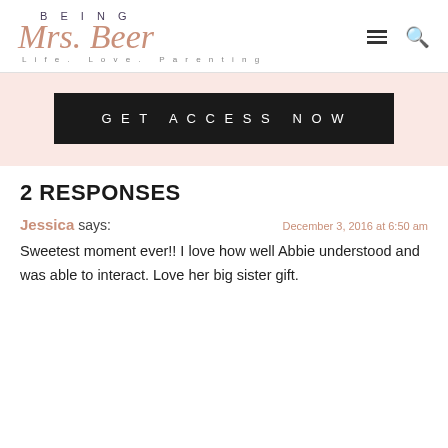BEING Mrs. Beer — Life. Love. Parenting
[Figure (other): GET ACCESS NOW button on pink/blush background banner]
2 RESPONSES
Jessica says:  December 3, 2016 at 6:50 am
Sweetest moment ever!! I love how well Abbie understood and was able to interact. Love her big sister gift.